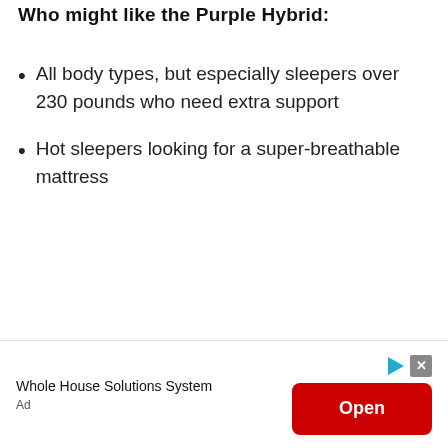Who might like the Purple Hybrid:
All body types, but especially sleepers over 230 pounds who need extra support
Hot sleepers looking for a super-breathable mattress
[Figure (screenshot): Advertisement banner: 'Whole House Solutions System' with a red 'Open' button and ad icons]